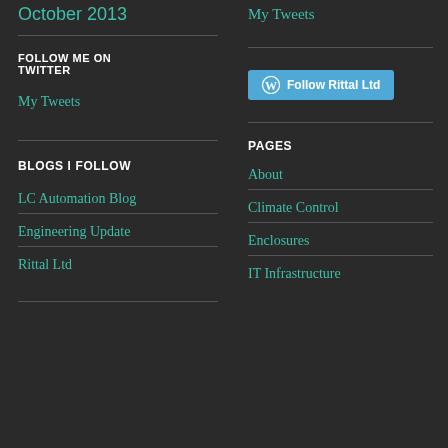October 2013
My Tweets
FOLLOW ME ON TWITTER
[Figure (other): Follow Rittal Ltd button with WordPress icon]
My Tweets
PAGES
BLOGS I FOLLOW
About
LC Automation Blog
Climate Control
Engineering Update
Enclosures
Rittal Ltd
IT Infrastructure